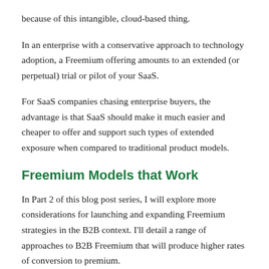because of this intangible, cloud-based thing.
In an enterprise with a conservative approach to technology adoption, a Freemium offering amounts to an extended (or perpetual) trial or pilot of your SaaS.
For SaaS companies chasing enterprise buyers, the advantage is that SaaS should make it much easier and cheaper to offer and support such types of extended exposure when compared to traditional product models.
Freemium Models that Work
In Part 2 of this blog post series, I will explore more considerations for launching and expanding Freemium strategies in the B2B context. I'll detail a range of approaches to B2B Freemium that will produce higher rates of conversion to premium.